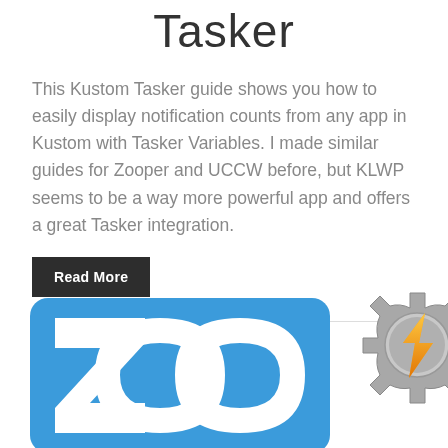Tasker
This Kustom Tasker guide shows you how to easily display notification counts from any app in Kustom with Tasker Variables. I made similar guides for Zooper and UCCW before, but KLWP seems to be a way more powerful app and offers a great Tasker integration.
Read More
[Figure (illustration): Zooper Widget logo (blue rounded square with 'ZOO' text) overlapping with a Tasker gear icon (grey gear with orange lightning bolt)]